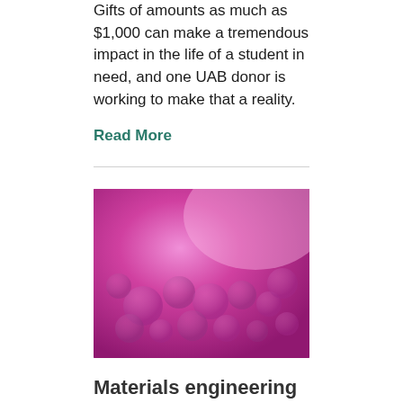Gifts of amounts as much as $1,000 can make a tremendous impact in the life of a student in need, and one UAB donor is working to make that a reality.
Read More
[Figure (photo): Close-up microscope image of small dome-shaped bumps on a pink/magenta surface, likely biological tissue or implant material surface texture.]
Materials engineering team develops process to make implants safer